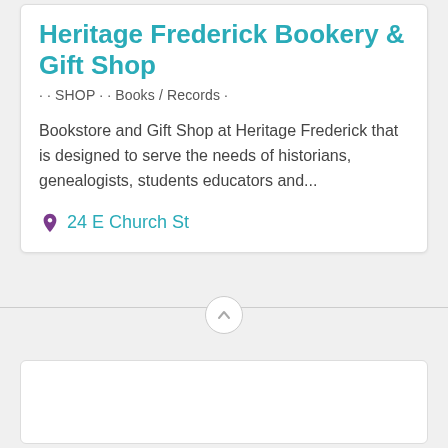Heritage Frederick Bookery & Gift Shop
· · SHOP · · Books / Records ·
Bookstore and Gift Shop at Heritage Frederick that is designed to serve the needs of historians, genealogists, students educators and...
24 E Church St